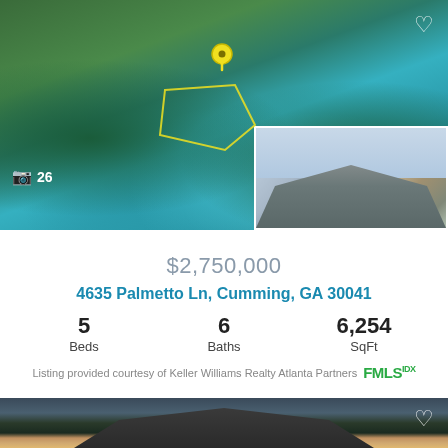[Figure (photo): Aerial drone photo of lakefront property with boat docks on teal/green water, forested surroundings, yellow location pin marker and property outline, camera icon with count 26, inset photo of house exterior in bottom right corner]
$2,750,000
4635 Palmetto Ln, Cumming, GA 30041
5
Beds
6
Baths
6,254
SqFt
Listing provided courtesy of Keller Williams Realty Atlanta Partners FMLS IDX
[Figure (photo): Exterior photo of large luxury home at dusk/night with illuminated windows, dark shingle roof with multiple peaks, trees silhouetted in background]